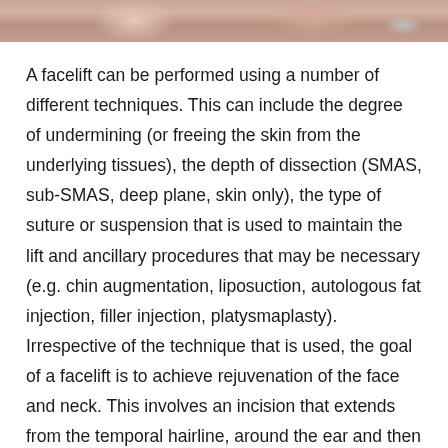[Figure (photo): Partial view of a facelift procedure or related medical imagery, cropped at top of page]
A facelift can be performed using a number of different techniques. This can include the degree of undermining (or freeing the skin from the underlying tissues), the depth of dissection (SMAS, sub-SMAS, deep plane, skin only), the type of suture or suspension that is used to maintain the lift and ancillary procedures that may be necessary (e.g. chin augmentation, liposuction, autologous fat injection, filler injection, platysmaplasty). Irrespective of the technique that is used, the goal of a facelift is to achieve rejuvenation of the face and neck. This involves an incision that extends from the temporal hairline, around the ear and then blends into the hairline behind the ear. This incision is designed in such a way to minimize the resultant scar. Again, depending on the type of facelift that is chosen, the